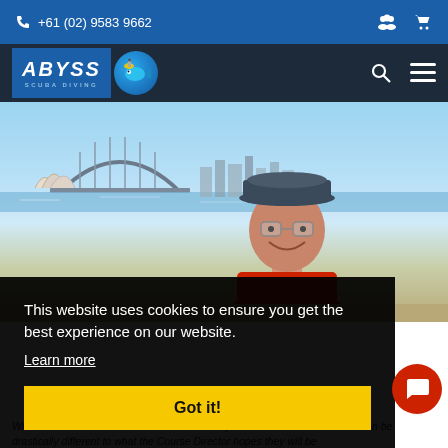+61 (02) 9583 9662
[Figure (logo): Abyss Scuba Diving logo with fish icon]
[Figure (photo): Man smiling outdoors with Sydney Opera House and Harbour Bridge in background]
This website uses cookies to ensure you get the best experience on our website.
Learn more
Got it!
What an instructor candidate thinks are the key factors in a successful IDC can be drastically different to what the Course Director hopes they will be